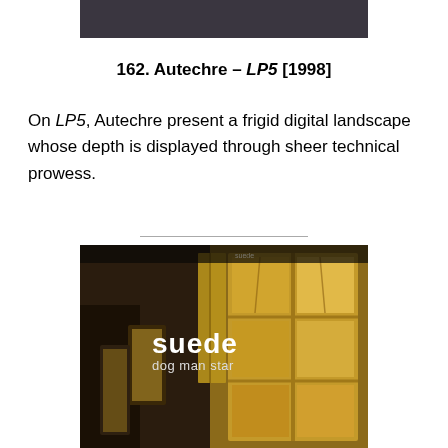[Figure (photo): Dark grey/charcoal album cover image at top of page (cropped, partially visible)]
162. Autechre – LP5 [1998]
On LP5, Autechre present a frigid digital landscape whose depth is displayed through sheer technical prowess.
[Figure (photo): Album cover for Suede – Dog Man Star. Dark atmospheric image showing a glowing window and a tall figure or curtain, with the text 'suede' in bold white and 'dog man star' below it.]